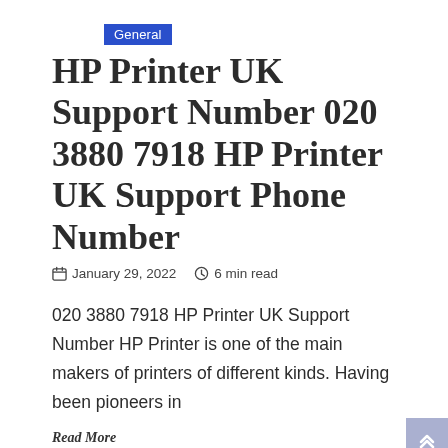General
HP Printer UK Support Number 020 3880 7918 HP Printer UK Support Phone Number
January 29, 2022  6 min read
020 3880 7918 HP Printer UK Support Number HP Printer is one of the main makers of printers of different kinds. Having been pioneers in
Read More